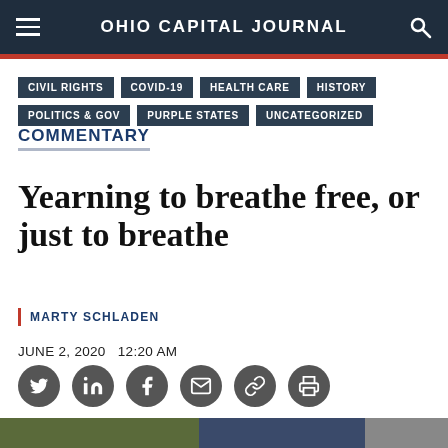OHIO CAPITAL JOURNAL
CIVIL RIGHTS
COVID-19
HEALTH CARE
HISTORY
POLITICS & GOV
PURPLE STATES
UNCATEGORIZED
COMMENTARY
Yearning to breathe free, or just to breathe
MARTY SCHLADEN
JUNE 2, 2020   12:20 AM
[Figure (infographic): Social media share icons: Twitter, LinkedIn, Facebook, Email, Link, Print]